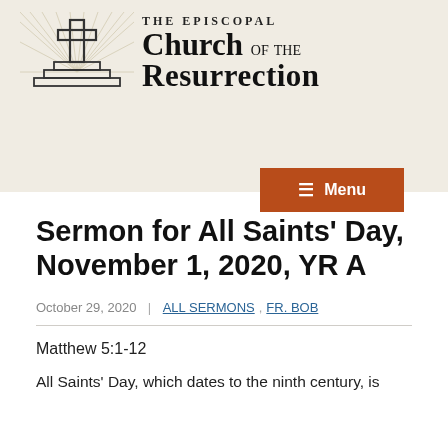[Figure (logo): Episcopal Church of the Resurrection logo: cross on a stepped base with radiating lines, alongside church name text]
≡ Menu
Sermon for All Saints' Day, November 1, 2020, YR A
October 29, 2020  |  ALL SERMONS ,  FR. BOB
Matthew 5:1-12
All Saints' Day, which dates to the ninth century, is